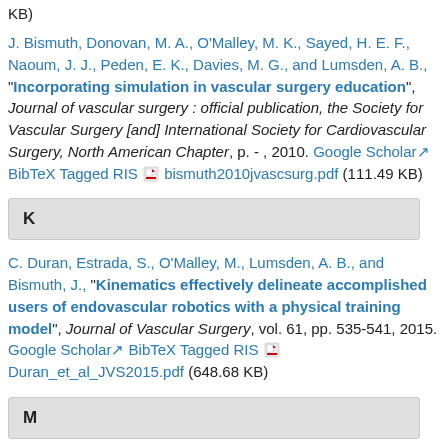KB)
J. Bismuth, Donovan, M. A., O'Malley, M. K., Sayed, H. E. F., Naoum, J. J., Peden, E. K., Davies, M. G., and Lumsden, A. B., "Incorporating simulation in vascular surgery education", Journal of vascular surgery : official publication, the Society for Vascular Surgery [and] International Society for Cardiovascular Surgery, North American Chapter, p. - , 2010. Google Scholar BibTeX Tagged RIS bismuth2010jvascsurg.pdf (111.49 KB)
K
C. Duran, Estrada, S., O'Malley, M., Lumsden, A. B., and Bismuth, J., "Kinematics effectively delineate accomplished users of endovascular robotics with a physical training model", Journal of Vascular Surgery, vol. 61, pp. 535-541, 2015. Google Scholar BibTeX Tagged RIS Duran_et_al_JVS2015.pdf (648.68 KB)
M